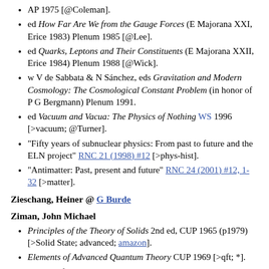AP 1975 [@Coleman].
ed How Far Are We from the Gauge Forces (E Majorana XXI, Erice 1983) Plenum 1985 [@Lee].
ed Quarks, Leptons and Their Constituents (E Majorana XXII, Erice 1984) Plenum 1988 [@Wick].
w V de Sabbata & N Sánchez, eds Gravitation and Modern Cosmology: The Cosmological Constant Problem (in honor of P G Bergmann) Plenum 1991.
ed Vacuum and Vacua: The Physics of Nothing WS 1996 [>vacuum; @Turner].
"Fifty years of subnuclear physics: From past to future and the ELN project" RNC 21 (1998) #12 [>phys-hist].
"Antimatter: Past, present and future" RNC 24 (2001) #12, 1-32 [>matter].
Zieschang, Heiner @ G Burde
Ziman, John Michael
Principles of the Theory of Solids 2nd ed, CUP 1965 (p1979) [>Solid State; advanced; amazon].
Elements of Advanced Quantum Theory CUP 1969 [>qft; *].
Models of Disorder CUP 1979 [>cell-complex].
Prometheus Bound: Science in a Dynamic Steady State CUP 1994 [r: PW(94)sep].
Of One Mind: The Collectivisation of Science MP 1995.